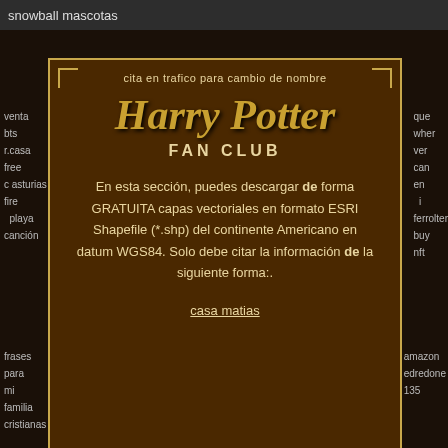snowball mascotas
cita en trafico para cambio de nombre
Harry Potter FAN CLUB
En esta sección, puedes descargar de forma GRATUITA capas vectoriales en formato ESRI Shapefile (*.shp) del continente Americano en datum WGS84. Solo debe citar la información de la siguiente forma:.
casa matias
frases para mi familia cristianas
weekend festival
amazon edredones 135